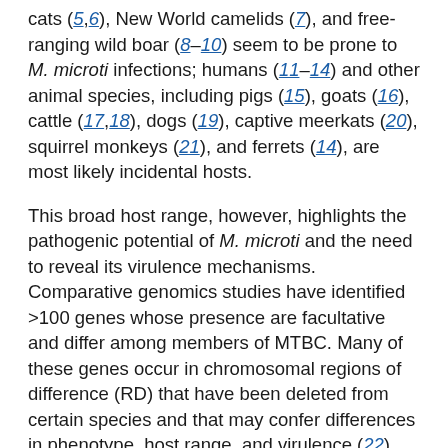cats (5,6), New World camelids (7), and free-ranging wild boar (8–10) seem to be prone to M. microti infections; humans (11–14) and other animal species, including pigs (15), goats (16), cattle (17,18), dogs (19), captive meerkats (20), squirrel monkeys (21), and ferrets (14), are most likely incidental hosts.
This broad host range, however, highlights the pathogenic potential of M. microti and the need to reveal its virulence mechanisms. Comparative genomics studies have identified >100 genes whose presence are facultative and differ among members of MTBC. Many of these genes occur in chromosomal regions of difference (RD) that have been deleted from certain species and that may confer differences in phenotype, host range, and virulence (22). Isolates of the animal-adapted ecotype defined as M. microti are characterized by the deletion of the RD1mic in the